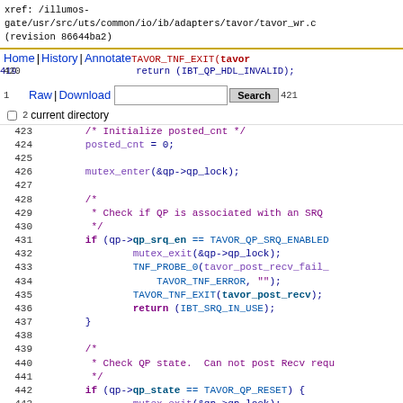xref: /illumos-gate/usr/src/uts/common/io/ib/adapters/tavor/tavor_wr.c (revision 86644ba2)
Home | History | Annotate | Line# | Scope# | Navigate# | Raw | Download  [Search] current directory
[Figure (screenshot): Source code viewer showing C code lines 419-444 of tavor_wr.c with syntax highlighting. Line numbers on left, code in monospace with purple keywords, blue function names, and comments.]